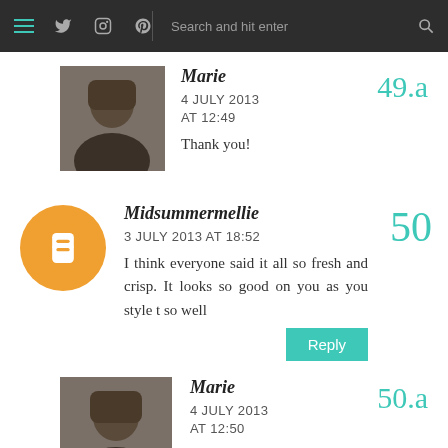Navigation bar with hamburger menu, Twitter, Instagram, Pinterest icons, search bar
Marie — 49.a
4 JULY 2013 AT 12:49
Thank you!
Midsummermellie — 50
3 JULY 2013 AT 18:52
I think everyone said it all so fresh and crisp. It looks so good on you as you style t so well
Marie — 50.a
4 JULY 2013 AT 12:50
Thanks Mellie,